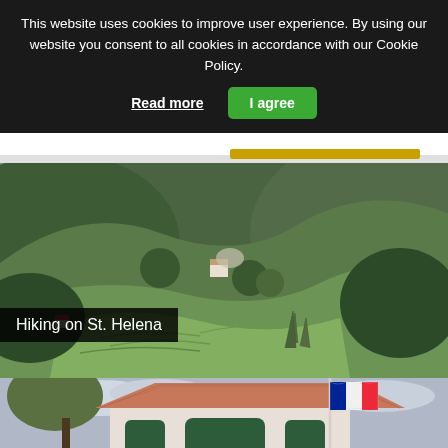This website uses cookies to improve user experience. By using our website you consent to all cookies in accordance with our Cookie Policy.
Read more
I agree
[Figure (photo): Green mountainous landscape with valleys, trees, and small buildings visible on the slopes — a hiking scene on St. Helena]
Hiking on St. Helena
[Figure (photo): A building with a terracotta roof and green-painted arched windows/door, with a French tricolor flag flying on a flagpole against a cloudy sky, with a tree on the left]